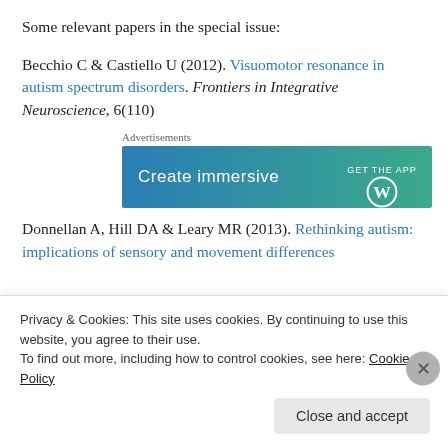Some relevant papers in the special issue:
Becchio C & Castiello U (2012). Visuomotor resonance in autism spectrum disorders. Frontiers in Integrative Neuroscience, 6(110)
[Figure (other): Advertisement banner: 'Create immersive' with WordPress logo and 'GET THE APP' text on a blue-green gradient background]
Donnellan A, Hill DA & Leary MR (2013). Rethinking autism: implications of sensory and movement differences
Privacy & Cookies: This site uses cookies. By continuing to use this website, you agree to their use. To find out more, including how to control cookies, see here: Cookie Policy